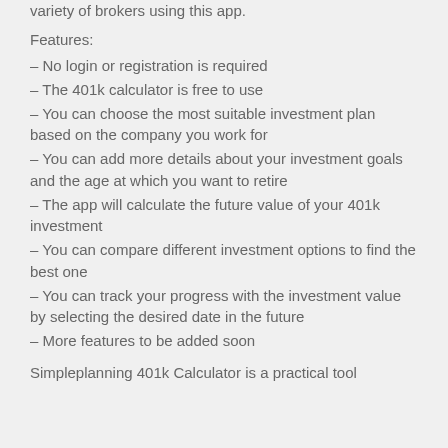variety of brokers using this app.
Features:
– No login or registration is required
– The 401k calculator is free to use
– You can choose the most suitable investment plan based on the company you work for
– You can add more details about your investment goals and the age at which you want to retire
– The app will calculate the future value of your 401k investment
– You can compare different investment options to find the best one
– You can track your progress with the investment value by selecting the desired date in the future
– More features to be added soon
Simpleplanning 401k Calculator is a practical tool